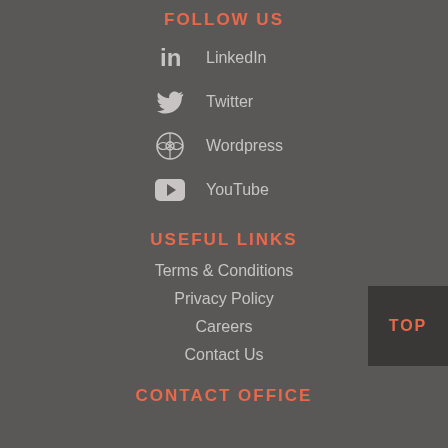FOLLOW US
LinkedIn
Twitter
Wordpress
YouTube
USEFUL LINKS
Terms & Conditions
Privacy Policy
Careers
Contact Us
CONTACT OFFICE